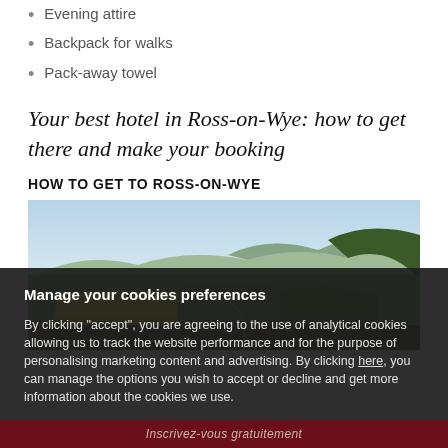Evening attire
Backpack for walks
Pack-away towel
Your best hotel in Ross-on-Wye: how to get there and make your booking
HOW TO GET TO ROSS-ON-WYE
[Figure (photo): Panoramic landscape view of rolling green hills and countryside around Ross-on-Wye, with yellow rapeseed fields in the middle ground and forested hills in the background under a clear sky.]
Manage your cookies preferences
By clicking "accept", you are agreeing to the use of analytical cookies allowing us to track the website performance and for the purpose of personalising marketing content and advertising. By clicking here, you can manage the options you wish to accept or decline and get more information about the cookies we use.
Decline | Accept
Inscrivez-vous gratuitement